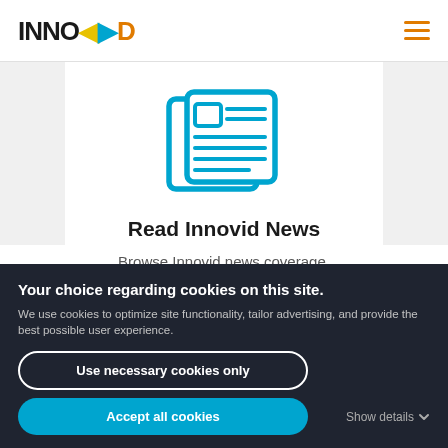INNOVID (logo) — navigation bar with hamburger menu
[Figure (illustration): Blue newspaper/news icon: two overlapping document pages with headline and line graphics in cyan/blue outline style]
Read Innovid News
Browse Innovid news coverage, announcements and more.
Your choice regarding cookies on this site.
We use cookies to optimize site functionality, tailor advertising, and provide the best possible user experience.
Use necessary cookies only
Accept all cookies
Show details